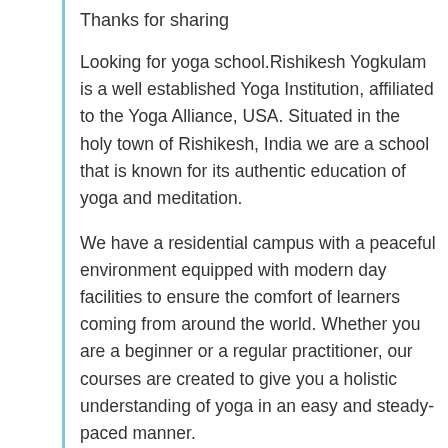Thanks for sharing
Looking for yoga school.Rishikesh Yogkulam is a well established Yoga Institution, affiliated to the Yoga Alliance, USA. Situated in the holy town of Rishikesh, India we are a school that is known for its authentic education of yoga and meditation.
We have a residential campus with a peaceful environment equipped with modern day facilities to ensure the comfort of learners coming from around the world. Whether you are a beginner or a regular practitioner, our courses are created to give you a holistic understanding of yoga in an easy and steady-paced manner.
Visit our website:-
https://www.rishikeshyogkulam.com